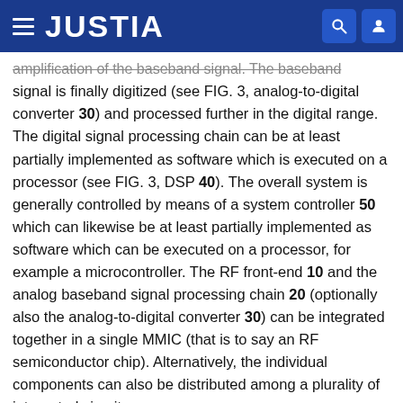JUSTIA
amplification of the baseband signal. The baseband signal is finally digitized (see FIG. 3, analog-to-digital converter 30) and processed further in the digital range. The digital signal processing chain can be at least partially implemented as software which is executed on a processor (see FIG. 3, DSP 40). The overall system is generally controlled by means of a system controller 50 which can likewise be at least partially implemented as software which can be executed on a processor, for example a microcontroller. The RF front-end 10 and the analog baseband signal processing chain 20 (optionally also the analog-to-digital converter 30) can be integrated together in a single MMIC (that is to say an RF semiconductor chip). Alternatively, the individual components can also be distributed among a plurality of integrated circuits.
FIG. 4 illustrates an exemplary implementation of the RF